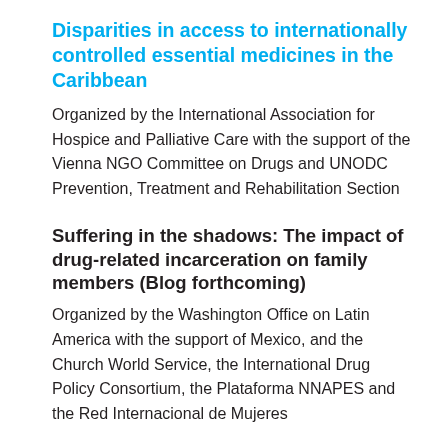Disparities in access to internationally controlled essential medicines in the Caribbean
Organized by the International Association for Hospice and Palliative Care with the support of the Vienna NGO Committee on Drugs and UNODC Prevention, Treatment and Rehabilitation Section
Suffering in the shadows: The impact of drug-related incarceration on family members (Blog forthcoming)
Organized by the Washington Office on Latin America with the support of Mexico, and the Church World Service, the International Drug Policy Consortium, the Plataforma NNAPES and the Red Internacional de Mujeres